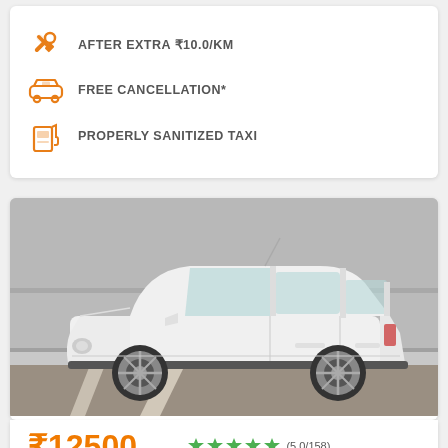AFTER EXTRA ₹10.0/KM
FREE CANCELLATION*
PROPERLY SANITIZED TAXI
[Figure (photo): White SUV car photographed from the side in a parking lot against a grey wall]
₹12500  ★★★★★ (5.0/158)